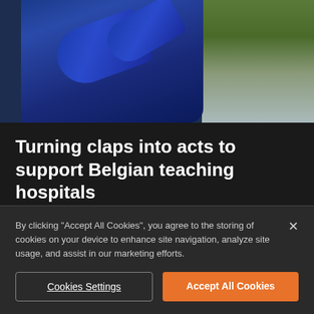[Figure (photo): Photo of a person in a blue sweatshirt with arms raised, outdoors with a building visible in the background]
Turning claps into acts to support Belgian teaching hospitals
When the pandemic started to compromise the valuable work of Belgian teaching hospitals, they urgently needed extra financial support. Emakina's
By clicking "Accept All Cookies", you agree to the storing of cookies on your device to enhance site navigation, analyze site usage, and assist in our marketing efforts.
Cookies Settings
Accept All Cookies